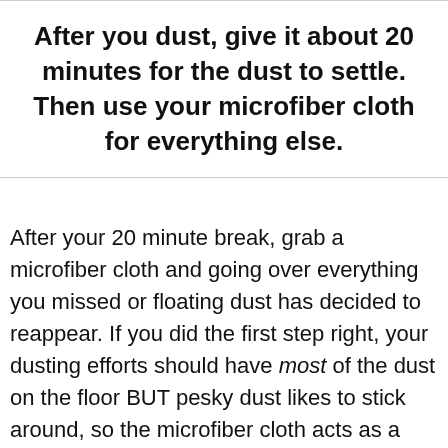After you dust, give it about 20 minutes for the dust to settle. Then use your microfiber cloth for everything else.
After your 20 minute break, grab a microfiber cloth and going over everything you missed or floating dust has decided to reappear. If you did the first step right, your dusting efforts should have most of the dust on the floor BUT pesky dust likes to stick around, so the microfiber cloth acts as a double measure.